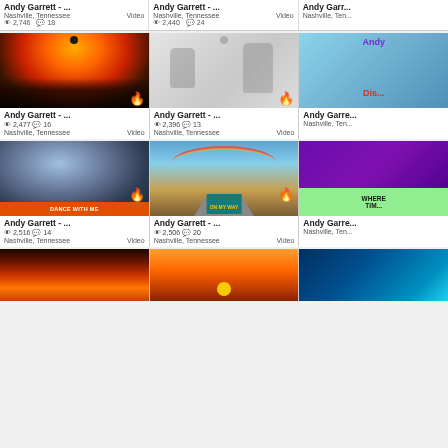[Figure (screenshot): Grid of video thumbnails from Andy Garrett Nashville Tennessee channel showing concert, ghost hands, text cards, dancer, rainbow road, purple texture cards with view counts and comment counts]
Andy Garrett - ... 2,746 views 18 comments | Andy Garrett - ... 2,440 views 24 comments | Andy Garr...
Nashville, Tennessee Video | Nashville, Tennessee Video | Nashville, Ten...
Andy Garrett - ... 2,477 views 16 comments | Andy Garrett - ... 2,396 views 13 comments
Nashville, Tennessee Video | Nashville, Tennessee Video
Andy Garrett - ... 2,516 views 14 comments | Andy Garrett - ... 2,506 views 20 comments
Nashville, Tennessee Video | Nashville, Tennessee Video